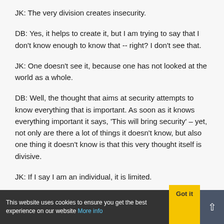JK: The very division creates insecurity.
DB: Yes, it helps to create it, but I am trying to say that I don't know enough to know that -- right? I don't see that.
JK: One doesn't see it, because one has not looked at the world as a whole.
DB: Well, the thought that aims at security attempts to know everything that is important. As soon as it knows everything important it says, 'This will bring security' – yet, not only are there a lot of things it doesn't know, but also one thing it doesn't know is that this very thought itself is divisive.
JK: If I say I am an individual, it is limited.
DB: Yes.
JK: I am concerned with myself; that is very limited.
This website uses cookies to ensure you get the best experience on our website More info